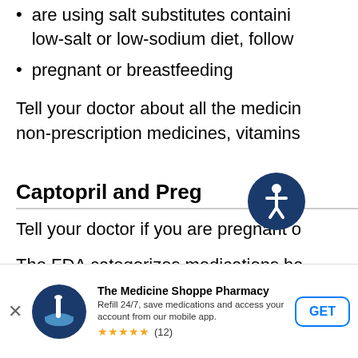are using salt substitutes containing low-salt or low-sodium diet, follow
pregnant or breastfeeding
Tell your doctor about all the medicines non-prescription medicines, vitamins
Captopril and Pregnancy
Tell your doctor if you are pregnant o
The FDA categorizes medications ba Five categories - A, B, C, D, and X, a an unborn baby when a medication i
[Figure (logo): Accessibility icon - circular blue badge with white person/wheelchair symbol]
[Figure (logo): The Medicine Shoppe Pharmacy app banner with mortar and pestle logo, GET button, star rating (12 reviews)]